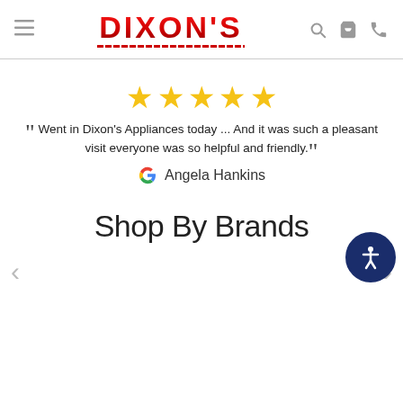Dixon's - navigation header with hamburger menu, logo, search, cart, and phone icons
[Figure (other): Five gold star rating]
Went in Dixon's Appliances today ... And it was such a pleasant visit everyone was so helpful and friendly.
Angela Hankins
Shop By Brands
[Figure (other): Carousel navigation arrows for brand logos]